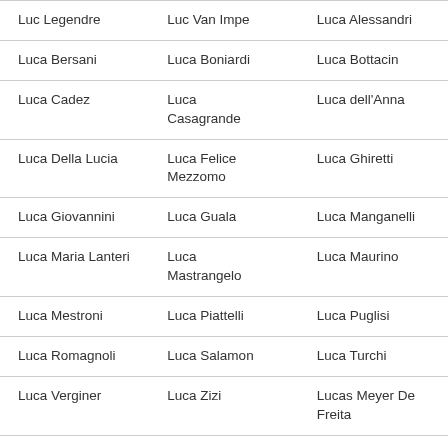| Luc Legendre | Luc Van Impe | Luca Alessandri |
| Luca Bersani | Luca Boniardi | Luca Bottacin |
| Luca Cadez | Luca Casagrande | Luca dell'Anna |
| Luca Della Lucia | Luca Felice Mezzomo | Luca Ghiretti |
| Luca Giovannini | Luca Guala | Luca Manganelli |
| Luca Maria Lanteri | Luca Mastrangelo | Luca Maurino |
| Luca Mestroni | Luca Piattelli | Luca Puglisi |
| Luca Romagnoli | Luca Salamon | Luca Turchi |
| Luca Verginer | Luca Zizi | Lucas Meyer De Freita |